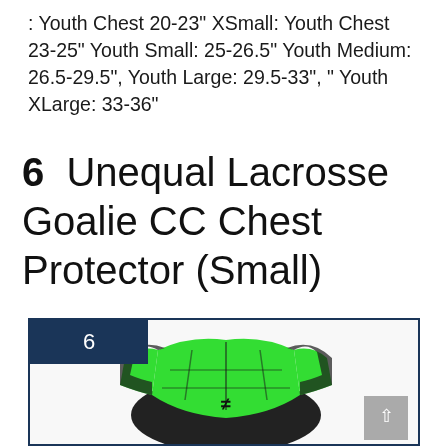: Youth Chest 20-23" XSmall: Youth Chest 23-25" Youth Small: 25-26.5" Youth Medium: 26.5-29.5", Youth Large: 29.5-33", " Youth XLarge: 33-36"
6   Unequal Lacrosse Goalie CC Chest Protector (Small)
[Figure (photo): Product image of Unequal Lacrosse Goalie CC Chest Protector in green and black, with number 6 badge in dark navy, inside a dark navy border box. A scroll-up button is visible in the bottom right corner.]